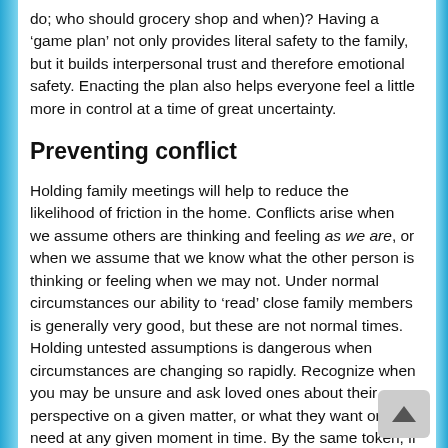do; who should grocery shop and when)? Having a 'game plan' not only provides literal safety to the family, but it builds interpersonal trust and therefore emotional safety. Enacting the plan also helps everyone feel a little more in control at a time of great uncertainty.
Preventing conflict
Holding family meetings will help to reduce the likelihood of friction in the home. Conflicts arise when we assume others are thinking and feeling as we are, or when we assume that we know what the other person is thinking or feeling when we may not. Under normal circumstances our ability to 'read' close family members is generally very good, but these are not normal times. Holding untested assumptions is dangerous when circumstances are changing so rapidly. Recognize when you may be unsure and ask loved ones about their perspective on a given matter, or what they want or need at any given moment in time. By the same token, if you want something from another, it is good to be specific about what you need at